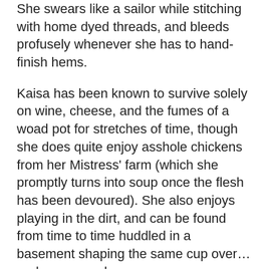She swears like a sailor while stitching with home dyed threads, and bleeds profusely whenever she has to hand-finish hems.
Kaisa has been known to survive solely on wine, cheese, and the fumes of a woad pot for stretches of time, though she does quite enjoy asshole chickens from her Mistress' farm (which she promptly turns into soup once the flesh has been devoured). She also enjoys playing in the dirt, and can be found from time to time huddled in a basement shaping the same cup over… and over… and over….
Kaisa is easily influenced, and has been known to frantically stitch late into the night just prior to an event.